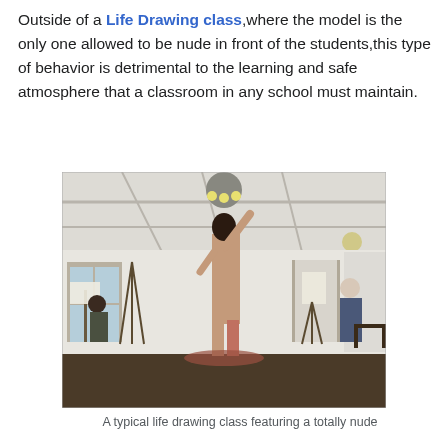Outside of a Life Drawing class,where the model is the only one allowed to be nude in front of the students,this type of behavior is detrimental to the learning and safe atmosphere that a classroom in any school must maintain.
[Figure (photo): A life drawing class scene in a large white-walled room with wooden ceiling beams. A nude model stands centrally on a mat with one arm raised, back to the camera. Several artists with easels and drawing boards are visible around the room. A chandelier and wall-mounted lights illuminate the space.]
A typical life drawing class featuring a totally nude